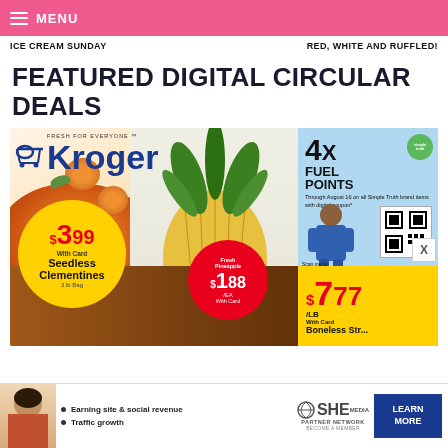MENU
ICE CREAM SUNDAY   RED, WHITE AND RUFFLED!
FEATURED DIGITAL CIRCULAR DEALS
[Figure (photo): Kroger grocery store digital circular advertisement showing Seedless Clementines 3 lb Bag for $3.99 With Card, Fresh Pineapple for $1.88/EA With Card, and Boneless Steak for $7.77/LB With Card. Also shows 4X Fuel Points promotion through August 16 on all Simple Truth brand items with digital coupon, with QR code to scan and download coupon. Kroger logo with FRESH FOR EVERYONE tagline visible.]
[Figure (infographic): SHE Media Partner Network advertisement banner showing a person, bullet points for Earning site & social revenue and Traffic growth, SHE Partner Network logo, and a LEARN MORE button.]